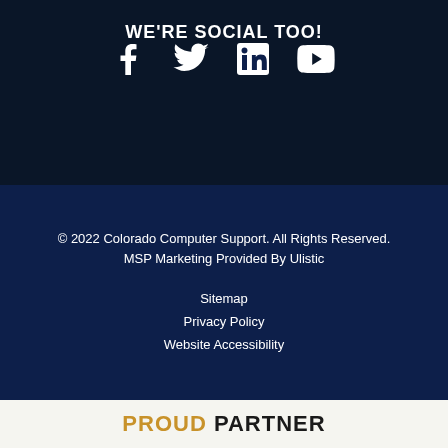WE'RE SOCIAL TOO!
[Figure (infographic): Four social media icons in white: Facebook, Twitter, LinkedIn, YouTube]
© 2022 Colorado Computer Support. All Rights Reserved.
MSP Marketing Provided By Ulistic
Sitemap
Privacy Policy
Website Accessibility
PROUD PARTNER